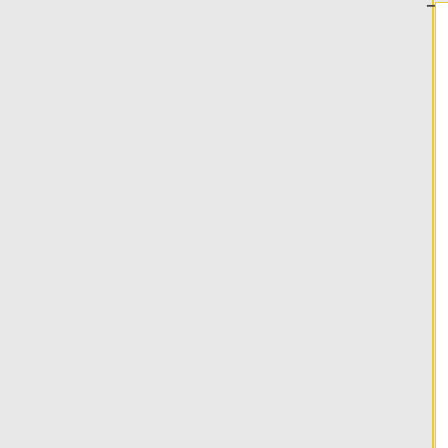2_Imagery.pdf Radiometric Use of WorldView-2 Imagery, Technical Note (2010)] by Todd Updike and Chris Comp, can be done by using the following equation: